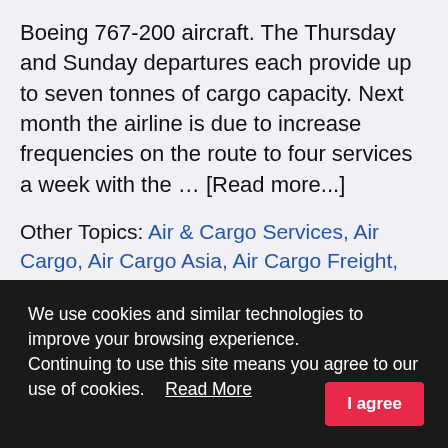Boeing 767-200 aircraft. The Thursday and Sunday departures each provide up to seven tonnes of cargo capacity. Next month the airline is due to increase frequencies on the route to four services a week with the … [Read more...]
Other Topics: Air & Cargo Services, Air Cargo, Air Cargo Asia, Air Cargo Freight, Air Forwarding, Air Freight, Air Freight Asia, Air Freight Logistics, Air Freighter, Air Freighting, Air Logistics Asia, Air Shipping Asia, Airlines Cargo, Airways
We use cookies and similar technologies to improve your browsing experience.
Continuing to use this site means you agree to our use of cookies.   Read More